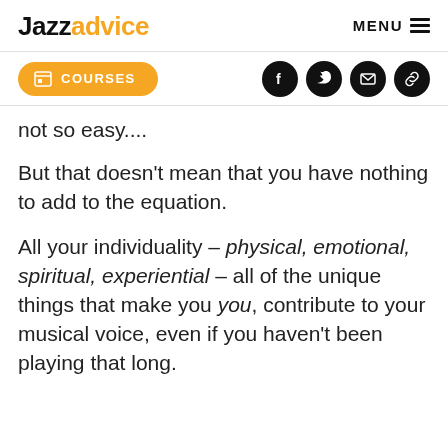Jazzadvice  MENU
COURSES (social icons: facebook, twitter, email, link)
not so easy....
But that doesn't mean that you have nothing to add to the equation.
All your individuality – physical, emotional, spiritual, experiential – all of the unique things that make you you, contribute to your musical voice, even if you haven't been playing that long.